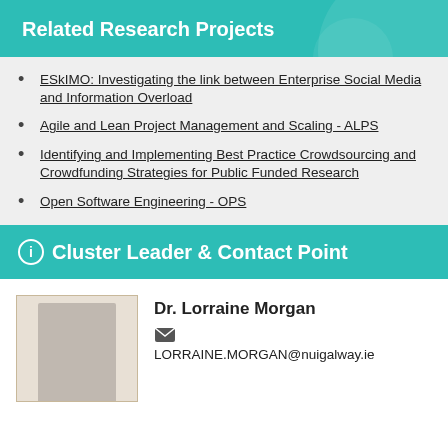Related Research Projects
ESkIMO: Investigating the link between Enterprise Social Media and Information Overload
Agile and Lean Project Management and Scaling - ALPS
Identifying and Implementing Best Practice Crowdsourcing and Crowdfunding Strategies for Public Funded Research
Open Software Engineering - OPS
Cluster Leader & Contact Point
Dr. Lorraine Morgan
LORRAINE.MORGAN@nuigalway.ie